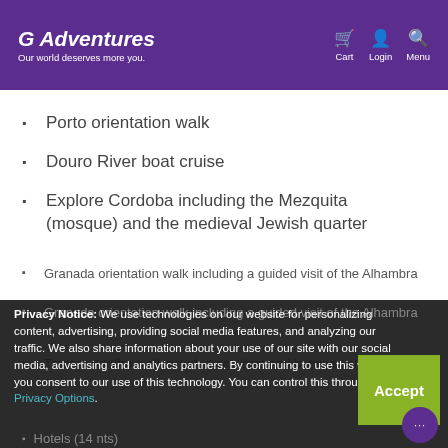G Adventures — Our world deserves more you. | Cart | Login | Menu
Porto orientation walk
Douro River boat cruise
Explore Cordoba including the Mezquita (mosque) and the medieval Jewish quarter
Granada orientation walk including a guided visit of the Alhambra
Transport to/from all included activities and between all destinations
Privacy Notice: We use technologies on our website for personalizing content, advertising, providing social media features, and analyzing our traffic. We also share information about your use of our site with our social media, advertising and analytics partners. By continuing to use this website, you consent to our use of this technology. You can control this through your Privacy Options.
Hotels (14 nts)